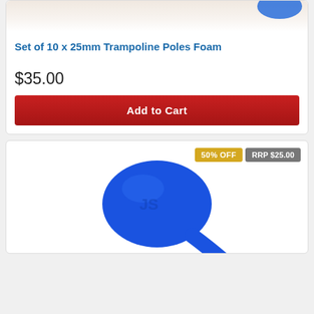[Figure (photo): Top portion of a product photo showing trampoline poles foam, light background with blue object partially visible at top]
Set of 10 x 25mm Trampoline Poles Foam
$35.00
Add to Cart
[Figure (photo): Blue dumbbell or weight product photo on white background, with badges showing 50% OFF and RRP $25.00]